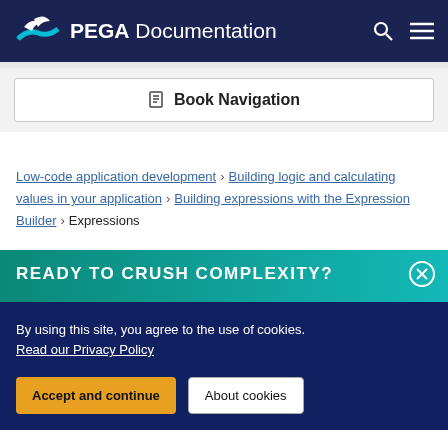PEGA Documentation
Book Navigation
Low-code application development > Building logic and calculating values in your application > Building expressions with the Expression Builder > Expressions
READY TO CRUSH COMPLEXITY?
By using this site, you agree to the use of cookies. Read our Privacy Policy
Accept and continue | About cookies